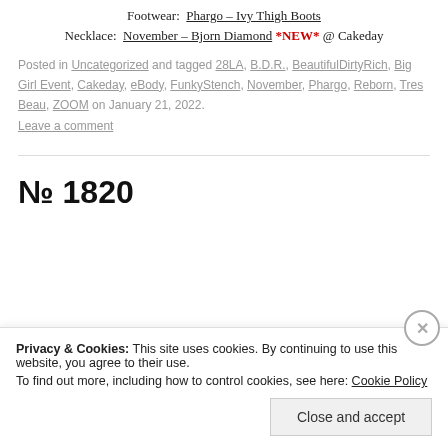Footwear:  Phargo – Ivy Thigh Boots
Necklace:  November – Bjorn Diamond *NEW* @ Cakeday
Posted in Uncategorized and tagged 28LA, B.D.R., BeautifulDirtyRich, Big Girl Event, Cakeday, eBody, FunkyStench, November, Phargo, Reborn, Tres Beau, ZOOM on January 21, 2022. Leave a comment
№ 1820
Privacy & Cookies: This site uses cookies. By continuing to use this website, you agree to their use. To find out more, including how to control cookies, see here: Cookie Policy
Close and accept